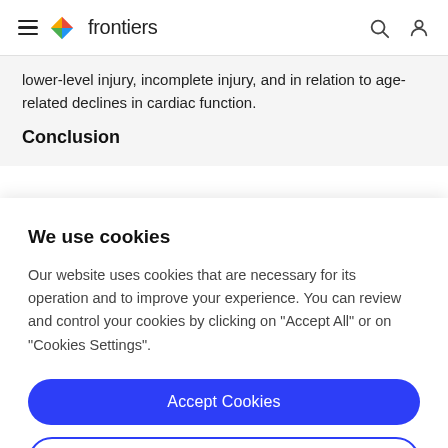frontiers
lower-level injury, incomplete injury, and in relation to age-related declines in cardiac function.
Conclusion
We use cookies
Our website uses cookies that are necessary for its operation and to improve your experience. You can review and control your cookies by clicking on "Accept All" or on "Cookies Settings".
Accept Cookies
Cookies Settings